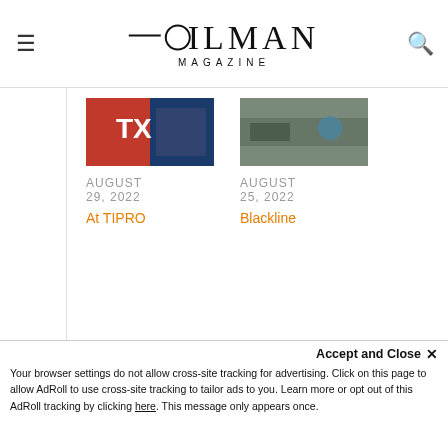OILMAN MAGAZINE
AUGUST 29, 2022
At TIPRO
AUGUST 25, 2022
Blackline
[Figure (photo): Wolf advertisement for PakEnergy: split wolf image (white dove/wolf left, blue wolf right). Text: WEAK point solutions? NO THX! | STRONG end-to-end? YESSSSS, I want | PakEnergy logo]
Lemme Show You ?
Accept and Close ✕
Your browser settings do not allow cross-site tracking for advertising. Click on this page to allow AdRoll to use cross-site tracking to tailor ads to you. Learn more or opt out of this AdRoll tracking by clicking here. This message only appears once.